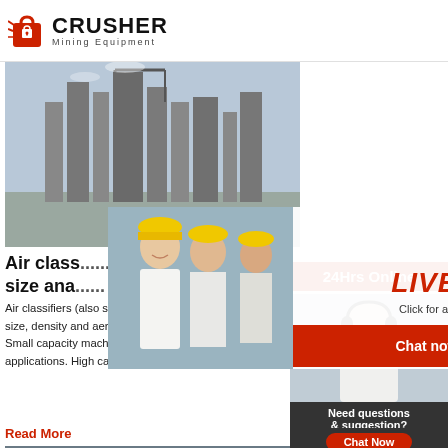[Figure (logo): Crusher Mining Equipment logo with red bag icon and bold black CRUSHER text]
[Figure (photo): Industrial mining/cement plant facility with tall silos and cranes against sky]
Air class... size ana...
Air classifiers (also spelled classifiers) are machines used to separate dry particles according to their size, density and aerodynamic shape. RSG Inc manufactures air classifiers for all types of dry powders. Small capacity machines start at around 1 kg/hr for high density fine metal powders and pharmaceutical applications. High capacity air ...
Read More
[Figure (photo): Excavator/earth moving equipment at a mining site]
[Figure (photo): Live Chat popup with workers in hard hats, LIVE CHAT heading, Click for a Free Consultation, Chat now and Chat later buttons]
[Figure (photo): 24Hrs Online sidebar with customer service representative wearing headset]
24Hrs Online
Need questions & suggestion?
Chat Now
Enquiry
limingjlmofen@sina.com